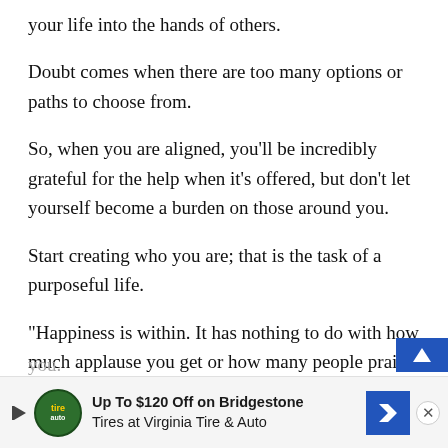your life into the hands of others.
Doubt comes when there are too many options or paths to choose from.
So, when you are aligned, you’ll be incredibly grateful for the help when it’s offered, but don’t let yourself become a burden on those around you.
Start creating who you are; that is the task of a purposeful life.
“Happiness is within. It has nothing to do with how much applause you get or how many people praise
you.
have
[Figure (other): Advertisement banner: Up To $120 Off on Bridgestone Tires at Virginia Tire & Auto, with logo, blue directional arrow sign, and close button.]